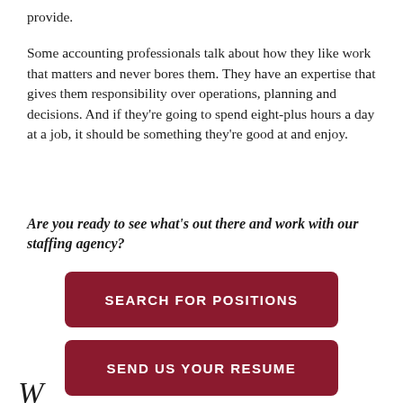provide.
Some accounting professionals talk about how they like work that matters and never bores them. They have an expertise that gives them responsibility over operations, planning and decisions. And if they're going to spend eight-plus hours a day at a job, it should be something they're good at and enjoy.
Are you ready to see what's out there and work with our staffing agency?
[Figure (other): Dark red rounded button with text SEARCH FOR POSITIONS in white uppercase letters]
[Figure (other): Dark red rounded button with text SEND US YOUR RESUME in white uppercase letters]
W...